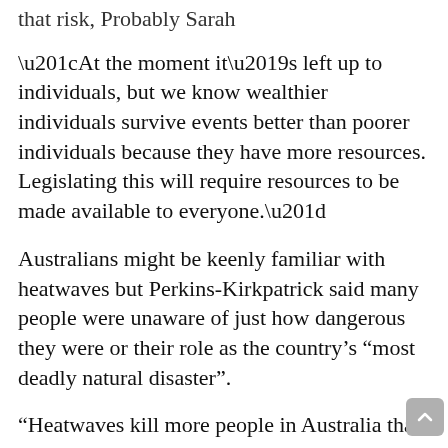that risk, Probably Sarah
“At the moment it’s left up to individuals, but we know wealthier individuals survive events better than poorer individuals because they have more resources. Legislating this will require resources to be made available to everyone.”
Australians might be keenly familiar with heatwaves but Perkins-Kirkpatrick said many people were unaware of just how dangerous they were or their role as the country’s “most deadly natural disaster”.
“Heatwaves kill more people in Australia than all other natural disasters combined by a long shot,” she said. “And one fun fact: more people die on 27 January from extreme heat than they do on any other day of the year, because it’s the day after Australia Day.
“Everyone’s dehydrated, they’re out in the sun, they’ve been drinking beers, their body starts to suffer heatstroke and they get rushed to hospital.”
The Bureau of Meteorology currently has no plans to adopt a naming convention for heatwaves but it does